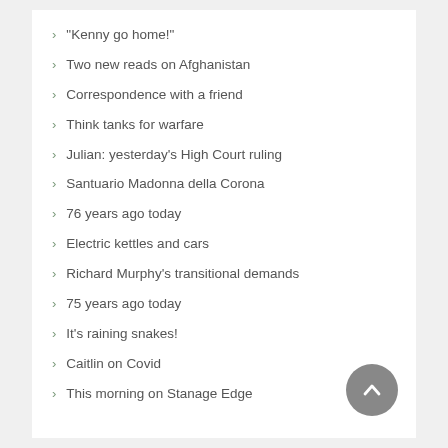“Kenny go home!”
Two new reads on Afghanistan
Correspondence with a friend
Think tanks for warfare
Julian: yesterday’s High Court ruling
Santuario Madonna della Corona
76 years ago today
Electric kettles and cars
Richard Murphy’s transitional demands
75 years ago today
It’s raining snakes!
Caitlin on Covid
This morning on Stanage Edge